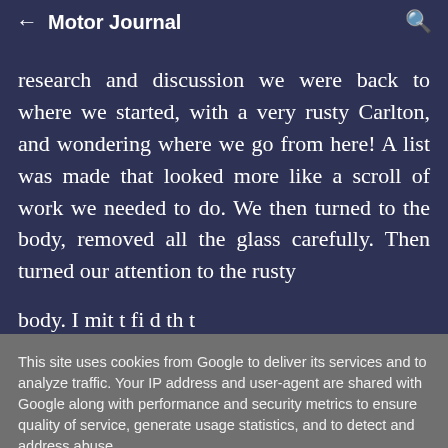← Motor Journal 🔍
research and discussion we were back to where we started, with a very rusty Carlton, and wondering where we go from here! A list was made that looked more like a scroll of work we needed to do. We then turned to the body, removed all the glass carefully. Then turned our attention to the rusty
This site uses cookies from Google to deliver its services and to analyze traffic. Your IP address and user-agent are shared with Google along with performance and security metrics to ensure quality of service, generate usage statistics, and to detect and address abuse.
LEARN MORE   OK